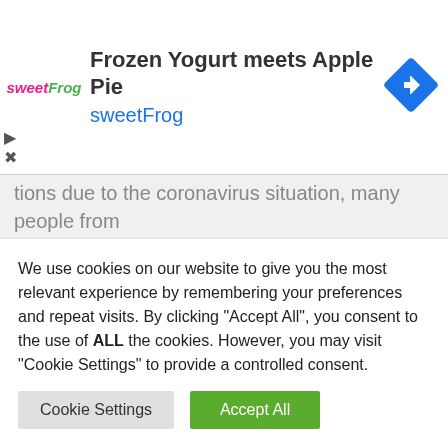[Figure (other): sweetFrog advertisement banner with logo, title 'Frozen Yogurt meets Apple Pie', subtitle 'sweetFrog', and a blue diamond navigation icon]
tions due to the coronavirus situation, many people from those specific countries cannot enjoy live new year fireworks, especially in cities like New York, London, and Dubai, etc. However, that is not the only option for you since you can watch the Happy New Year 2023 Fireworks streaming live on our site.
We use cookies on our website to give you the most relevant experience by remembering your preferences and repeat visits. By clicking "Accept All", you consent to the use of ALL the cookies. However, you may visit "Cookie Settings" to provide a controlled consent.